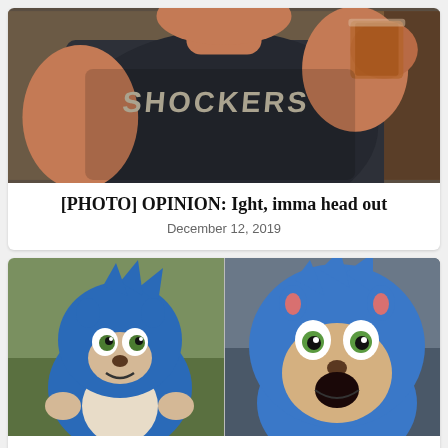[Figure (photo): Person wearing a dark SHOCKERS t-shirt holding a drink glass, photographed from chest up]
[PHOTO] OPINION: Ight, imma head out
December 12, 2019
[Figure (photo): Side-by-side comparison of two CGI versions of Sonic the Hedgehog from the movie — left showing the original creepy design, right showing the redesigned friendlier version with shocked expression]
[PHOTO] OPINION: ‘Sonic the Hedgehog’ should have stayed bad